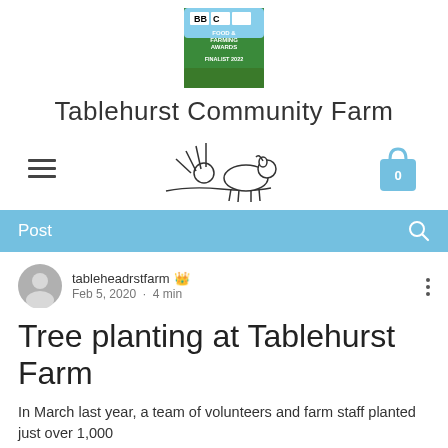[Figure (logo): BBC Food & Farming Awards Finalist 2022 logo badge]
Tablehurst Community Farm
[Figure (logo): Tablehurst Farm illustrated logo showing a cow and sun, with hamburger menu icon and shopping bag icon with 0]
Post
tableheadrstfarm 👑 Feb 5, 2020 · 4 min
Tree planting at Tablehurst Farm
In March last year, a team of volunteers and farm staff planted just over 1,000